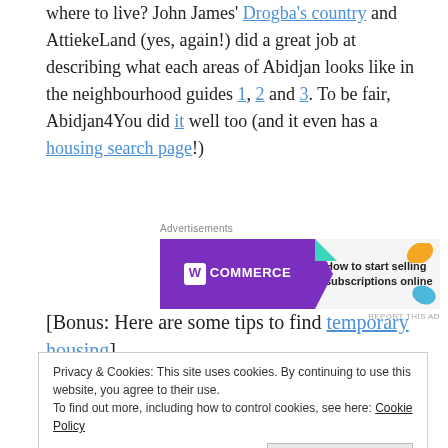where to live? John James' Drogba's country and AttiekeLand (yes, again!) did a great job at describing what each areas of Abidjan looks like in the neighbourhood guides 1, 2 and 3. To be fair, Abidjan4You did it well too (and it even has a housing search page!)
[Figure (other): WooCommerce advertisement banner: purple left panel with WooCommerce logo and teal arrow, white/light right panel with text 'How to start selling subscriptions online' and orange and blue leaf decorations]
[Bonus: Here are some tips to find temporary housing]
Privacy & Cookies: This site uses cookies. By continuing to use this website, you agree to their use.
To find out more, including how to control cookies, see here: Cookie Policy
[Close and accept]